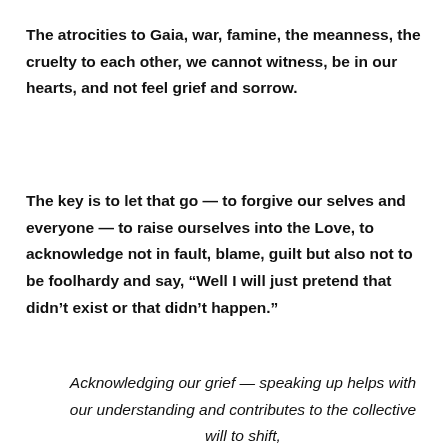The atrocities to Gaia, war, famine, the meanness, the cruelty to each other, we cannot witness, be in our hearts, and not feel grief and sorrow.
The key is to let that go — to forgive our selves and everyone — to raise ourselves into the Love, to acknowledge not in fault, blame, guilt but also not to be foolhardy and say, “Well I will just pretend that didn’t exist or that didn’t happen.”
Acknowledging our grief — speaking up helps with our understanding and contributes to the collective will to shift,